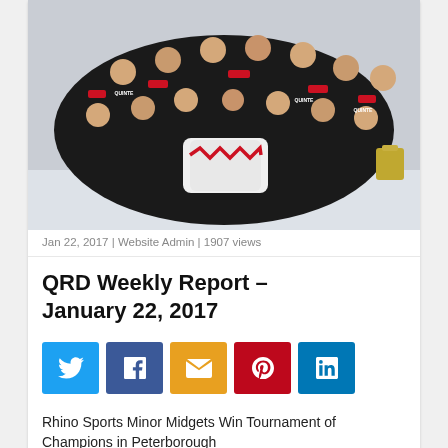[Figure (photo): Hockey team photo — players in dark Quinte jerseys posing on ice with goalie pads and a trophy]
Jan 22, 2017 | Website Admin | 1907 views
QRD Weekly Report – January 22, 2017
[Figure (infographic): Social share buttons: Twitter, Facebook, Email, Pinterest, LinkedIn]
Rhino Sports Minor Midgets Win Tournament of Champions in Peterborough